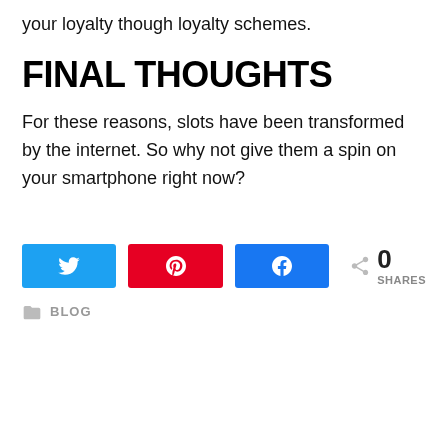your loyalty though loyalty schemes.
FINAL THOUGHTS
For these reasons, slots have been transformed by the internet. So why not give them a spin on your smartphone right now?
[Figure (infographic): Social share buttons: Twitter (blue), Pinterest (red), Facebook (blue), and a share count showing 0 SHARES]
BLOG